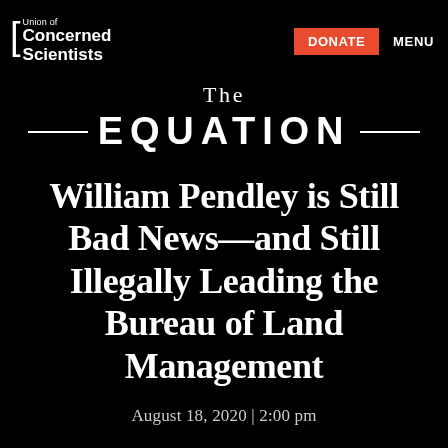Union of Concerned Scientists | DONATE | MENU
The EQUATION
William Pendley is Still Bad News—and Still Illegally Leading the Bureau of Land Management
August 18, 2020 | 2:00 pm